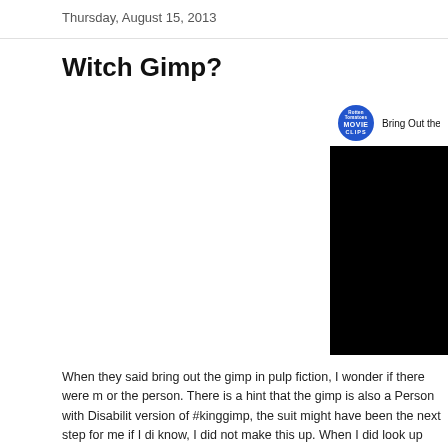Thursday, August 15, 2013
Witch Gimp?
[Figure (screenshot): Embedded YouTube video player showing 'Bring Out the Gimp - Pu...' with Rotten Tomatoes Movie Clips logo, black video area]
When they said bring out the gimp in pulp fiction, I wonder if there were more or the person. There is a hint that the gimp is also a Person with Disability version of #kinggimp, the suit might have been the next step for me if I di know, I did not make this up. When I did look up Gimp-A fighting spirit, I v dictionary and no other dictionary has it.